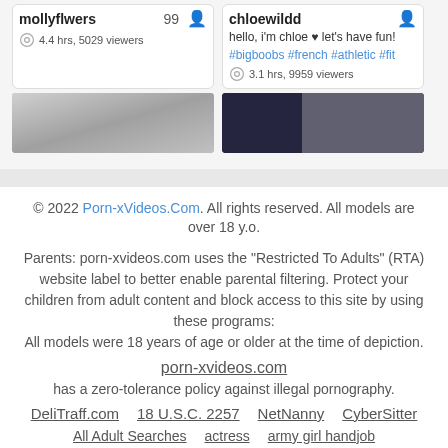mollyflwers 99
4.4 hrs, 5029 viewers
chloewildd
hello, i'm chloe ♥ let's have fun!
#bigboobs #french #athletic #fit
3.1 hrs, 9959 viewers
[Figure (photo): Two thumbnail images of webcam streams side by side]
© 2022 Porn-xVideos.Com. All rights reserved. All models are over 18 y.o.
Parents: porn-xvideos.com uses the "Restricted To Adults" (RTA) website label to better enable parental filtering. Protect your children from adult content and block access to this site by using these programs:
All models were 18 years of age or older at the time of depiction.
porn-xvideos.com
has a zero-tolerance policy against illegal pornography.
DeliTraff.com   18 U.S.C. 2257   NetNanny   CyberSitter
All Adult Searches   actress   army girl handjob